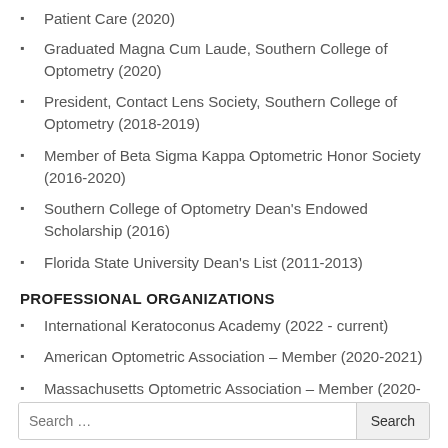Patient Care (2020)
Graduated Magna Cum Laude, Southern College of Optometry (2020)
President, Contact Lens Society, Southern College of Optometry (2018-2019)
Member of Beta Sigma Kappa Optometric Honor Society (2016-2020)
Southern College of Optometry Dean's Endowed Scholarship (2016)
Florida State University Dean's List (2011-2013)
PROFESSIONAL ORGANIZATIONS
International Keratoconus Academy (2022 - current)
American Optometric Association – Member (2020-2021)
Massachusetts Optometric Association – Member (2020-2021)